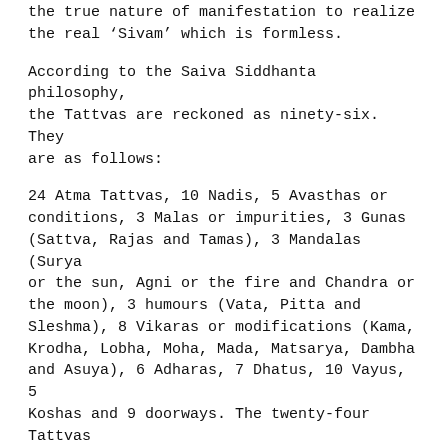the true nature of manifestation to realize the real 'Sivam' which is formless.
According to the Saiva Siddhanta philosophy, the Tattvas are reckoned as ninety-six. They are as follows:
24 Atma Tattvas, 10 Nadis, 5 Avasthas or conditions, 3 Malas or impurities, 3 Gunas (Sattva, Rajas and Tamas), 3 Mandalas (Surya or the sun, Agni or the fire and Chandra or the moon), 3 humours (Vata, Pitta and Sleshma), 8 Vikaras or modifications (Kama, Krodha, Lobha, Moha, Mada, Matsarya, Dambha and Asuya), 6 Adharas, 7 Dhatus, 10 Vayus, 5 Koshas and 9 doorways. The twenty-four Tattvas are the 5 elements (Bhutas), 5 Tanmatras (Sabda, etc.), 5 Jnana-Indriyas, 5 Karma-Indriyas and 4 Karanas (Manas, Buddhi, Chitta and Ahamkara). All these 96 relate to the